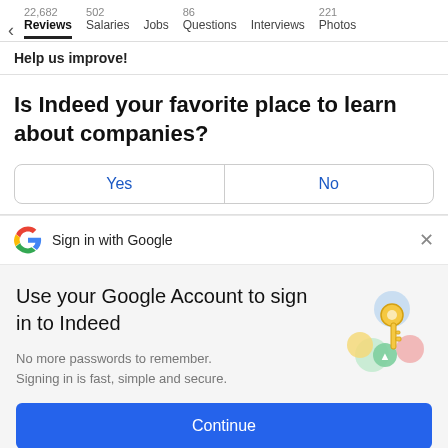22,682 Reviews   502 Salaries   Jobs   86 Questions   Interviews   221 Photos
Help us improve!
Is Indeed your favorite place to learn about companies?
Yes   No
Sign in with Google
Use your Google Account to sign in to Indeed
No more passwords to remember. Signing in is fast, simple and secure.
Continue